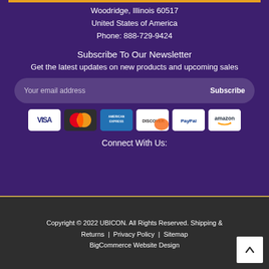Woodridge, Illinois 60517
United States of America
Phone: 888-729-9424
Subscribe To Our Newsletter
Get the latest updates on new products and upcoming sales
Your email address   Subscribe
[Figure (other): Payment method logos: Visa, MasterCard, American Express, Discover, PayPal, Amazon]
Connect With Us:
Copyright © 2022 UBICON. All Rights Reserved. Shipping & Returns | Privacy Policy | Sitemap BigCommerce Website Design